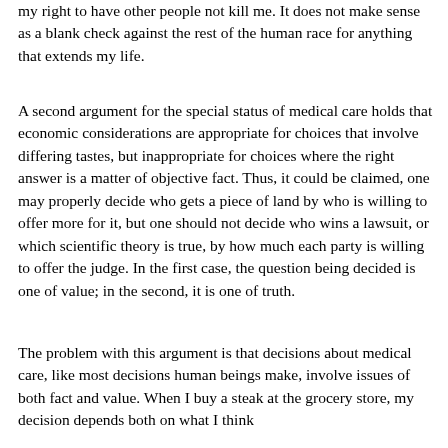my right to have other people not kill me. It does not make sense as a blank check against the rest of the human race for anything that extends my life.
A second argument for the special status of medical care holds that economic considerations are appropriate for choices that involve differing tastes, but inappropriate for choices where the right answer is a matter of objective fact. Thus, it could be claimed, one may properly decide who gets a piece of land by who is willing to offer more for it, but one should not decide who wins a lawsuit, or which scientific theory is true, by how much each party is willing to offer the judge. In the first case, the question being decided is one of value; in the second, it is one of truth.
The problem with this argument is that decisions about medical care, like most decisions human beings make, involve issues of both fact and value. When I buy a steak at the grocery store, my decision depends both on what I think